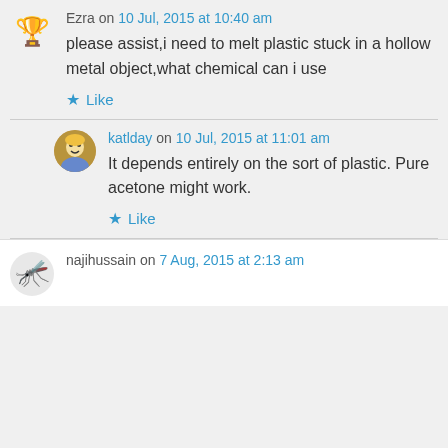Ezra on 10 Jul, 2015 at 10:40 am
please assist,i need to melt plastic stuck in a hollow metal object,what chemical can i use
Like
katlday on 10 Jul, 2015 at 11:01 am
It depends entirely on the sort of plastic. Pure acetone might work.
Like
najihussain on 7 Aug, 2015 at 2:13 am